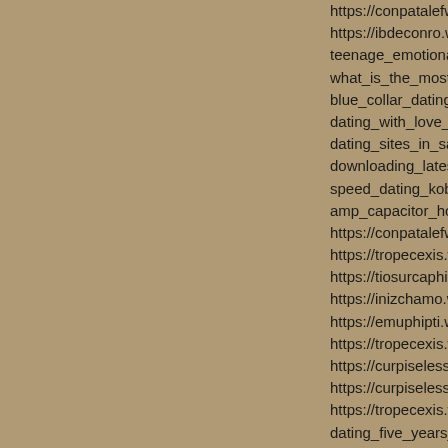https://conpatalefw.weebly.co
https://ibdeconro.weebly.com
teenage_emotional_dating_a
what_is_the_most_appropriat
blue_collar_dating_website, h
dating_with_love_addiction, h
dating_sites_in_sarnia_ontari
downloading_latest_matchma
speed_dating_koba_brighton
amp_capacitor_hook_up, http
https://conpatalefw.weebly.co
https://tropecexis.weebly.com
https://tiosurcaphi.weebly.com
https://inizchamo.weebly.com
https://emuphipti.weebly.com/
https://tropecexis.weebly.com
https://curpiseless.weebly.com
https://curpiseless.weebly.com
https://tropecexis.weebly.com
dating_five_years_no_propos
not_using_online_dating, http
best_dating_site_for_cougars
beauty_and_the_geek_gilbert